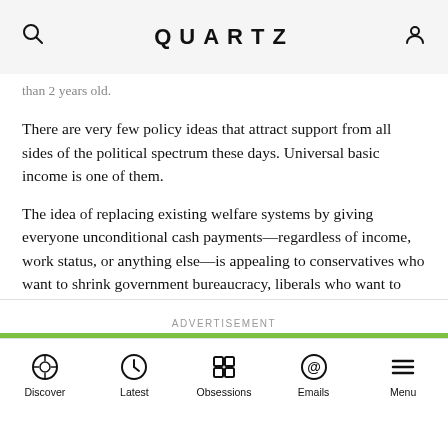QUARTZ
than 2 years old.
There are very few policy ideas that attract support from all sides of the political spectrum these days. Universal basic income is one of them.
The idea of replacing existing welfare systems by giving everyone unconditional cash payments—regardless of income, work status, or anything else—is appealing to conservatives who want to shrink government bureaucracy, liberals who want to support low-wage workers, and technologists who think that robots will soon take all our jobs. In short, for a wide range of problems, basic income is presented as the solution.
ADVERTISEMENT | Discover | Latest | Obsessions | Emails | Menu